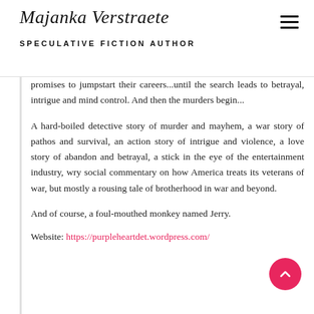Majanka Verstraete
SPECULATIVE FICTION AUTHOR
promises to jumpstart their careers...until the search leads to betrayal, intrigue and mind control. And then the murders begin...
A hard-boiled detective story of murder and mayhem, a war story of pathos and survival, an action story of intrigue and violence, a love story of abandon and betrayal, a stick in the eye of the entertainment industry, wry social commentary on how America treats its veterans of war, but mostly a rousing tale of brotherhood in war and beyond.
And of course, a foul-mouthed monkey named Jerry.
Website: https://purpleheartdet.wordpress.com/